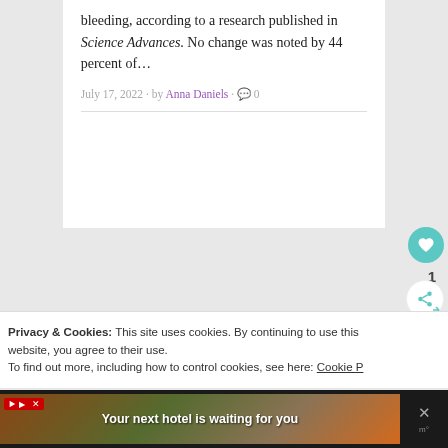bleeding, according to a research published in Science Advances. No change was noted by 44 percent of…
July 17, 2022 · by Anna Daniels · 0
Privacy & Cookies: This site uses cookies. By continuing to use this website, you agree to their use.
To find out more, including how to control cookies, see here: Cookie P
[Figure (screenshot): Advertisement banner at bottom of page: dark background with hotel landscape image and text 'Your next hotel is waiting for you'. Red ad badge with play icon and X close button visible.]